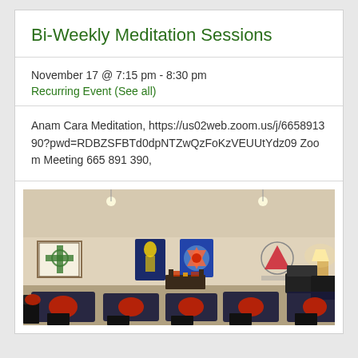Bi-Weekly Meditation Sessions
November 17 @ 7:15 pm - 8:30 pm
Recurring Event (See all)
Anam Cara Meditation, https://us02web.zoom.us/j/665891390?pwd=RDBZSFBTd0dpNTZwQzFoKzVEUUtYdz09 Zoom Meeting 665 891 390,
[Figure (photo): Interior of a meditation room with chairs arranged around dark mats with red cushions, spiritual symbols/banners on the walls including a Celtic cross, tantric imagery, and geometric symbols. A lamp in the corner and a small altar table visible.]